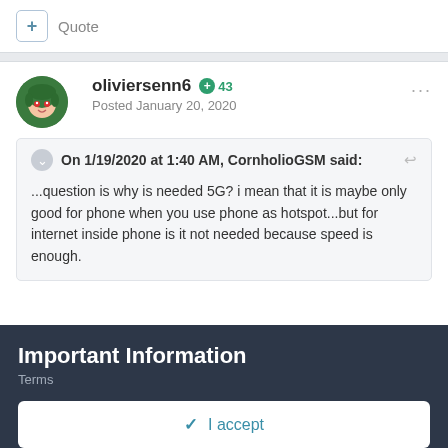+ Quote
oliviersenn6  +43
Posted January 20, 2020
On 1/19/2020 at 1:40 AM, CornholioGSM said:
...question is why is needed 5G? i mean that it is maybe only good for phone when you use phone as hotspot...but for internet inside phone is it not needed because speed is enough.
Important Information
Terms
✓  I accept